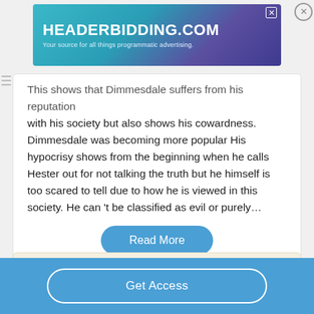[Figure (screenshot): HeaderBidding.com advertisement banner — teal/purple gradient background, white bold text reading HEADERBIDDING.COM with subtitle 'Your source for all things programmatic advertising.']
This shows that Dimmesdale suffers from his reputation with his society but also shows his cowardness. Dimmesdale was becoming more popular His hypocrisy shows from the beginning when he calls Hester out for not talking the truth but he himself is too scared to tell due to how he is viewed in this society. He can 't be classified as evil or purely…
Read More
Good Essays
Get Access